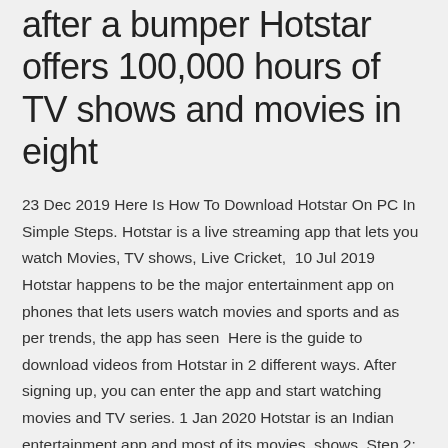after a bumper Hotstar offers 100,000 hours of TV shows and movies in eight
23 Dec 2019 Here Is How To Download Hotstar On PC In Simple Steps. Hotstar is a live streaming app that lets you watch Movies, TV shows, Live Cricket,  10 Jul 2019 Hotstar happens to be the major entertainment app on phones that lets users watch movies and sports and as per trends, the app has seen  Here is the guide to download videos from Hotstar in 2 different ways. After signing up, you can enter the app and start watching movies and TV series. 1 Jan 2020 Hotstar is an Indian entertainment app and most of its movies, shows, Step 2: Download and install the ExpressVPN app from this LINK.